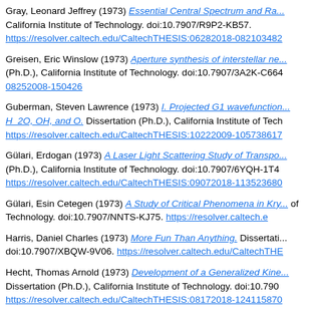Gray, Leonard Jeffrey (1973) Essential Central Spectrum and Ra... California Institute of Technology. doi:10.7907/R9P2-KB57. https://resolver.caltech.edu/CaltechTHESIS:06282018-082103482
Greisen, Eric Winslow (1973) Aperture synthesis of interstellar ne... (Ph.D.), California Institute of Technology. doi:10.7907/3A2K-C664 08252008-150426
Guberman, Steven Lawrence (1973) I. Projected G1 wavefunction... H_2O, OH, and O. Dissertation (Ph.D.), California Institute of Tech https://resolver.caltech.edu/CaltechTHESIS:10222009-105738617
Gülari, Erdogan (1973) A Laser Light Scattering Study of Transpo... (Ph.D.), California Institute of Technology. doi:10.7907/6YQH-1T4 https://resolver.caltech.edu/CaltechTHESIS:09072018-113523680
Gülari, Esin Cetegen (1973) A Study of Critical Phenomena in Kry... of Technology. doi:10.7907/NNTS-KJ75. https://resolver.caltech.e
Harris, Daniel Charles (1973) More Fun Than Anything. Dissertati... doi:10.7907/XBQW-9V06. https://resolver.caltech.edu/CaltechTHE
Hecht, Thomas Arnold (1973) Development of a Generalized Kine... Dissertation (Ph.D.), California Institute of Technology. doi:10.790 https://resolver.caltech.edu/CaltechTHESIS:08172018-124115870
Helgeson, Norman Lewis (1973) I. Latent Heat of Vaporization of... Vaporization for the N-Propane/N-Decane Mixture. Dissertation (P